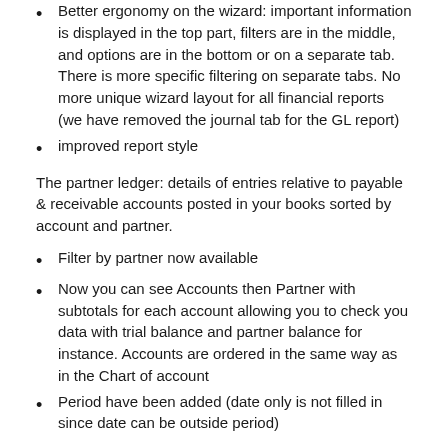Better ergonomy on the wizard: important information is displayed in the top part, filters are in the middle, and options are in the bottom or on a separate tab. There is more specific filtering on separate tabs. No more unique wizard layout for all financial reports (we have removed the journal tab for the GL report)
improved report style
The partner ledger: details of entries relative to payable & receivable accounts posted in your books sorted by account and partner.
Filter by partner now available
Now you can see Accounts then Partner with subtotals for each account allowing you to check you data with trial balance and partner balance for instance. Accounts are ordered in the same way as in the Chart of account
Period have been added (date only is not filled in since date can be outside period)